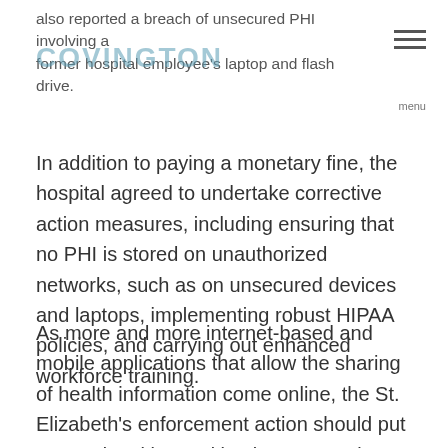also reported a breach of unsecured PHI involving a former hospital employee's laptop and flash drive.
In addition to paying a monetary fine, the hospital agreed to undertake corrective action measures, including ensuring that no PHI is stored on unauthorized networks, such as on unsecured devices and laptops, implementing robust HIPAA policies, and carrying out enhanced workforce training.
As more and more internet-based and mobile applications that allow the sharing of health information come online, the St. Elizabeth's enforcement action should put covered entities and business associates on notice that their use or